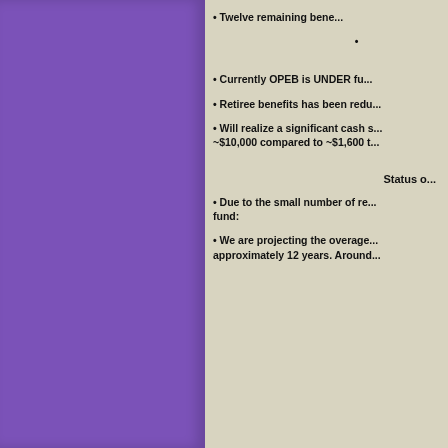[Figure (other): Purple/violet decorative panel on left side of page]
Twelve remaining bene...
•
Currently OPEB is UNDER fu...
Retiree benefits has been redu...
Will realize a significant cash s... ~$10,000 compared to ~$1,600 t...
Status o...
Due to the small number of re... fund:
We are projecting the overage... approximately 12 years. Around...